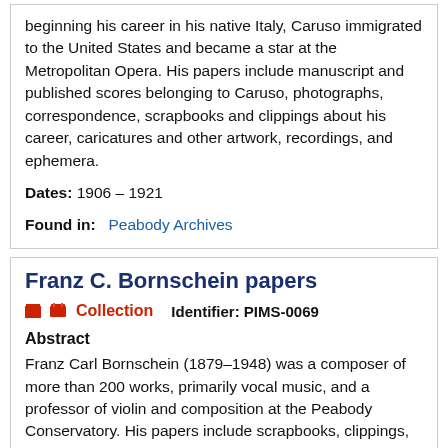beginning his career in his native Italy, Caruso immigrated to the United States and became a star at the Metropolitan Opera. His papers include manuscript and published scores belonging to Caruso, photographs, correspondence, scrapbooks and clippings about his career, caricatures and other artwork, recordings, and ephemera.
Dates: 1906 – 1921
Found in: Peabody Archives
Franz C. Bornschein papers
Collection   Identifier: PIMS-0069
Abstract
Franz Carl Bornschein (1879–1948) was a composer of more than 200 works, primarily vocal music, and a professor of violin and composition at the Peabody Conservatory. His papers include scrapbooks, clippings, correspondence, photographs, personal papers, manuscript and printed scores, and the